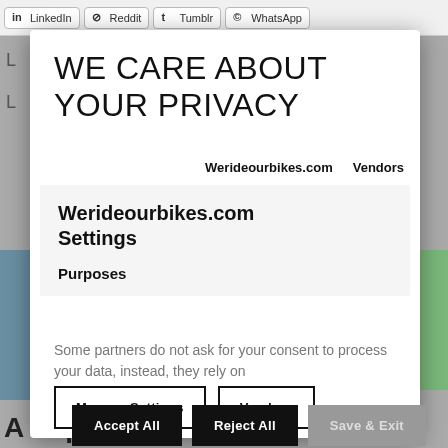LinkedIn | Reddit | Tumblr | WhatsApp
WE CARE ABOUT YOUR PRIVACY
Werideourbikes.com   Vendors
Werideourbikes.com Settings
Purposes
Some partners do not ask for your consent to process your data, instead, they rely on
Manage Settings
Vendors
Accept All
Reject All
Save & Exit
A Trip to B...